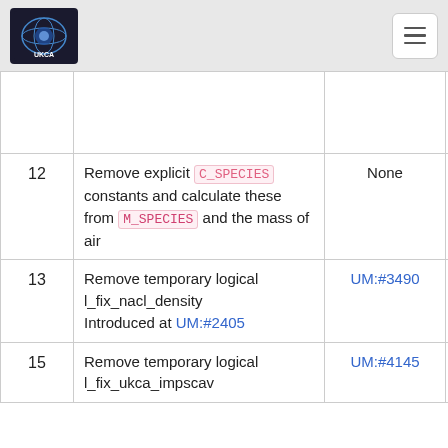UKCA header with logo and hamburger menu
| # | Description | Ticket | Notes |
| --- | --- | --- | --- |
|  |  |  | all. Proposed in June 2018. |
| 12 | Remove explicit C_SPECIES constants and calculate these from M_SPECIES and the mass of air | None | Will have w ranging ros stem KGO breakages |
| 13 | Remove temporary logical l_fix_nacl_density Introduced at UM:#2405 | UM:#3490 | Requires A testing and GMED tick Could be accepted to GA9 |
| 15 | Remove temporary logical l_fix_ukca_impscav | UM:#4145 | Approval be sought for series (likel |